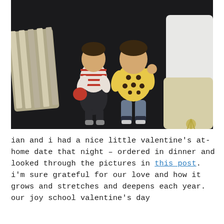[Figure (photo): Overhead photo of two young children sitting on a dark floor surrounded by pillows. The smaller child on the left wears a striped shirt and dark pants with grey socks, holding a red object. The larger child on the right wears a patterned yellow shirt and jeans with dark cuffs and light socks. On the left is a grey and white striped pillow; on the right is a cream/beige pillow with a tasseled decorative pillow.]
ian and i had a nice little valentine's at-home date that night – ordered in dinner and looked through the pictures in this post. i'm sure grateful for our love and how it grows and stretches and deepens each year. our joy school valentine's day